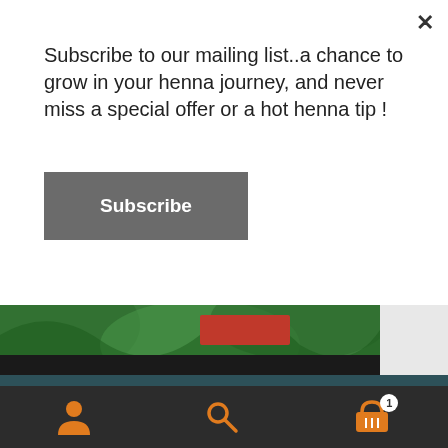Subscribe to our mailing list..a chance to grow in your henna journey, and never miss a special offer or a hot henna tip !
Subscribe
[Figure (photo): Moroccan Henna product image with green leaves background and red label]
10 % off when you sign up to the Newsletter ! Enter your e mail address in the sign up link towards the bottom of this page & remember to click the opt in link in the confirmation e mail (check junk mail).
Dismiss
Add to basket
Navigation bar with user, search, and basket icons